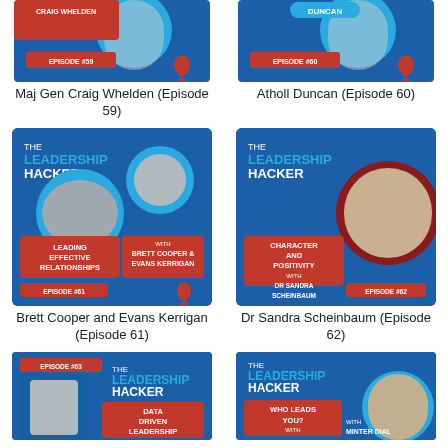[Figure (photo): The Leadership Hacker podcast card for Craig Whelden, Episode 59 - partially cropped at top]
[Figure (photo): The Leadership Hacker podcast card for Atholl Duncan, Episode 60 - partially cropped at top]
Maj Gen Craig Whelden (Episode 59)
Atholl Duncan (Episode 60)
[Figure (photo): The Leadership Hacker podcast card - Leading Effective Relationships with Brett Cooper & Evans Kerrigan, Episode 61]
[Figure (photo): The Leadership Hacker podcast card - Character and Positivity with Dr Sandra Scheinbaum, Episode 62]
Brett Cooper and Evans Kerrigan (Episode 61)
Dr Sandra Scheinbaum (Episode 62)
[Figure (photo): The Leadership Hacker podcast card - Data Driven Leadership with Alex Chausovsky, Episode 63 - partially cropped at bottom]
[Figure (photo): The Leadership Hacker podcast card - Who Leads You? with Minter Dial - partially cropped at bottom]